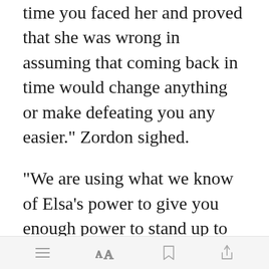time you faced her and proved that she was wrong in assuming that coming back in time would change anything or make defeating you any easier." Zordon sighed.
"We are using what we know of Elsa's power to give you enough power to stand up to her and do just that. From there it will be your combat skills that will make the difference." Alpha said